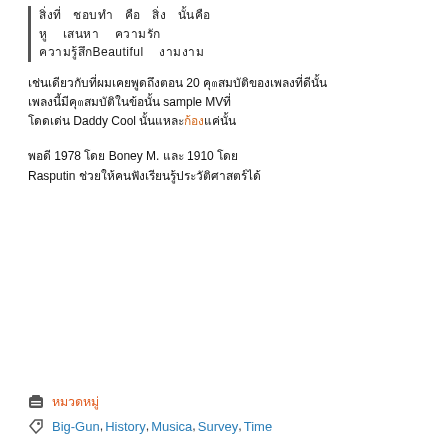[Thai script lines] Beautiful [Thai]
[Thai script] 20 [Thai script] sample MV [Thai] Daddy Cool [Thai script with orange highlight]
[Thai] 1978 [Thai] Boney M. [Thai] 1910 [Thai] Rasputin [Thai script]
Category: [Thai category label]
Tags: Big-Gun, History, Musica, Survey, Time